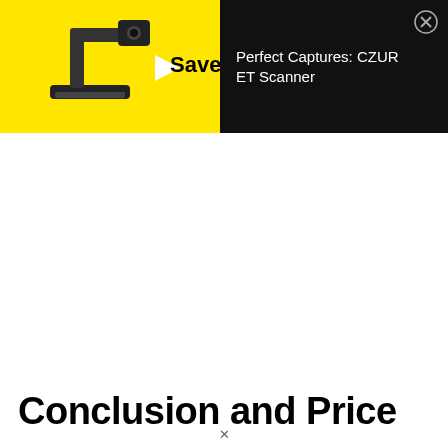[Figure (screenshot): Advertisement banner for CZUR ET Scanner. Left half has yellow background with a document scanner image and 'Save it.' text. Right half has black background with text 'Perfect Captures: CZUR ET Scanner' and a close button (X circle).]
Conclusion and Price